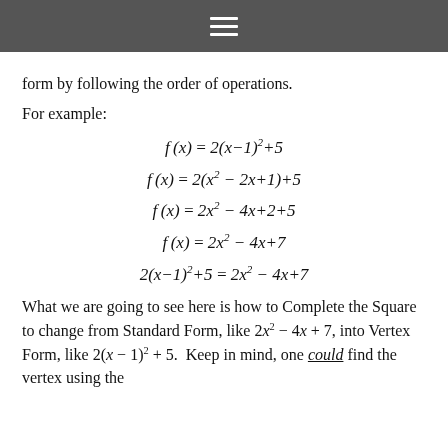≡
form by following the order of operations.
For example:
What we are going to see here is how to Complete the Square to change from Standard Form, like 2x² − 4x + 7, into Vertex Form, like 2(x − 1)² + 5.  Keep in mind, one could find the vertex using the